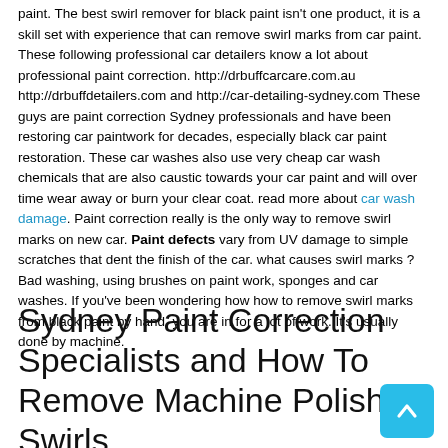paint. The best swirl remover for black paint isn't one product, it is a skill set with experience that can remove swirl marks from car paint. These following professional car detailers know a lot about professional paint correction. http://drbuffcarcare.com.au http://drbuffdetailers.com and http://car-detailing-sydney.com These guys are paint correction Sydney professionals and have been restoring car paintwork for decades, especially black car paint restoration. These car washes also use very cheap car wash chemicals that are also caustic towards your car paint and will over time wear away or burn your clear coat. read more about car wash damage. Paint correction really is the only way to remove swirl marks on new car. Paint defects vary from UV damage to simple scratches that dent the finish of the car. what causes swirl marks ? Bad washing, using brushes on paint work, sponges and car washes. If you've been wondering how how to remove swirl marks from black paint by hand, you are in for a lot of work. It's usually done by machine.
Sydney Paint Correction Specialists and How To Remove Machine Polish Swirls